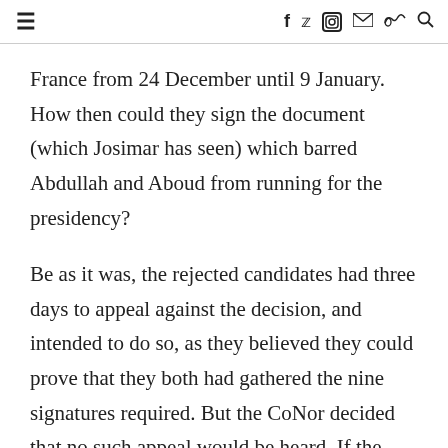≡  f  y  [instagram]  [email]  [soundcloud]  [search]
France from 24 December until 9 January. How then could they sign the document (which Josimar has seen) which barred Abdullah and Aboud from running for the presidency?
Be as it was, the rejected candidates had three days to appeal against the decision, and intended to do so, as they believed they could prove that they both had gathered the nine signatures required. But the CoNor decided that no such appeal would be heard. If the rejected candidates